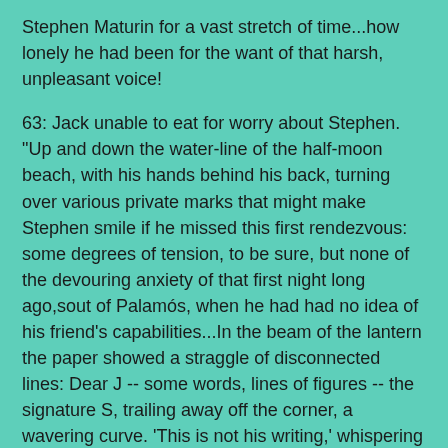Stephen Maturin for a vast stretch of time...how lonely he had been for the want of that harsh, unpleasant voice!
63: Jack unable to eat for worry about Stephen. "Up and down the water-line of the half-moon beach, with his hands behind his back, turning over various private marks that might make Stephen smile if he missed this first rendezvous: some degrees of tension, to be sure, but none of the devouring anxiety of that first night long ago,sout of Palamós, when he had had no idea of his friend's capabilities...In the beam of the lantern the paper showed a straggle of disconnected lines: Dear J -- some words, lines of figures -- the signature S, trailing away off the corner, a wavering curve. 'This is not his writing,' whispering still in the darkness, caution rising still over this certainty of complete disaster. 'This is not his hand.' 'He has been tortured.'
"Then, after a slight pause and in a diffident tone he said, 'My dear Simmons, here are some personal papers and letters I will trouble you with, if I may, to be sent home from Gibraltar in the event of things going amiss.' The first lieutenant looked down, and then up again into Jack's face: